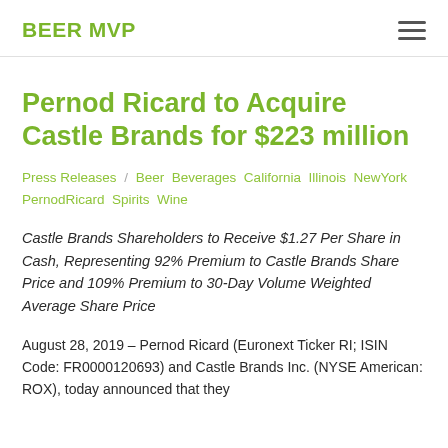BEER MVP
Pernod Ricard to Acquire Castle Brands for $223 million
Press Releases / Beer Beverages California Illinois NewYork PernodRicard Spirits Wine
Castle Brands Shareholders to Receive $1.27 Per Share in Cash, Representing 92% Premium to Castle Brands Share Price and 109% Premium to 30-Day Volume Weighted Average Share Price
August 28, 2019 – Pernod Ricard (Euronext Ticker RI; ISIN Code: FR0000120693) and Castle Brands Inc. (NYSE American: ROX), today announced that they